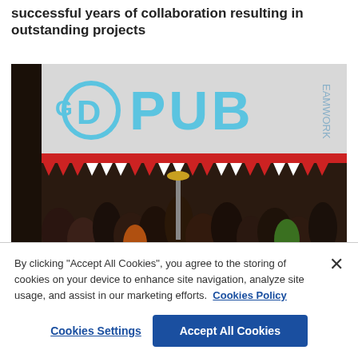successful years of collaboration resulting in outstanding projects
[Figure (photo): Outdoor pub event with a large banner reading 'GPD PUB' in blue letters on a white background, with a crowd of people gathered beneath it at night]
By clicking "Accept All Cookies", you agree to the storing of cookies on your device to enhance site navigation, analyze site usage, and assist in our marketing efforts.  Cookies Policy
Cookies Settings
Accept All Cookies